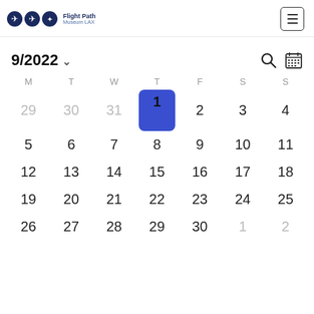[Figure (logo): Flight Path Museum LAX logo with three dark blue circles containing aviation icons and text 'Flight Path Museum LAX']
[Figure (other): Hamburger menu button (three horizontal lines) in a rounded rectangle]
9/2022
[Figure (other): Search icon (magnifying glass) and calendar grid icon]
| M | T | W | T | F | S | S |
| --- | --- | --- | --- | --- | --- | --- |
| 29 | 30 | 31 | 1 | 2 | 3 | 4 |
| 5 | 6 | 7 | 8 | 9 | 10 | 11 |
| 12 | 13 | 14 | 15 | 16 | 17 | 18 |
| 19 | 20 | 21 | 22 | 23 | 24 | 25 |
| 26 | 27 | 28 | 29 | 30 | 1 | 2 |